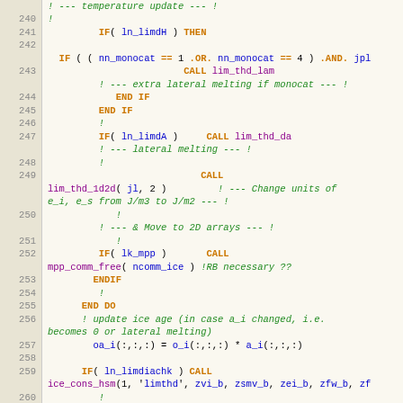[Figure (screenshot): Fortran source code listing with line numbers 239-261, showing thermodynamics update logic with colored syntax highlighting: keywords in orange/bold, function names in purple, comments in green italic, variables in blue.]